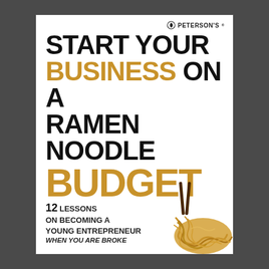[Figure (logo): Peterson's logo with circular icon and name]
START YOUR BUSINESS ON A RAMEN NOODLE BUDGET
[Figure (illustration): Ramen noodles being held by chopsticks]
12 Lessons on Becoming a Young Entrepreneur When You Are Broke